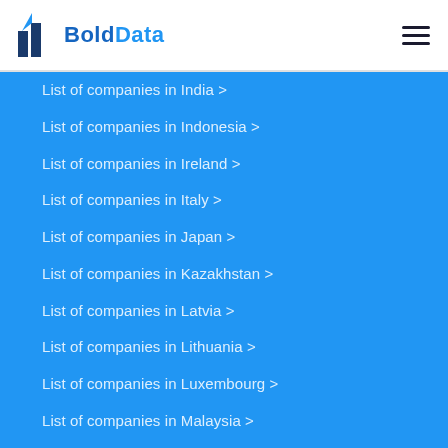BoldData
List of companies in India >
List of companies in Indonesia >
List of companies in Ireland >
List of companies in Italy >
List of companies in Japan >
List of companies in Kazakhstan >
List of companies in Latvia >
List of companies in Lithuania >
List of companies in Luxembourg >
List of companies in Malaysia >
List of companies in Malta >
List of companies in Moldova >
List of companies in Morocco >